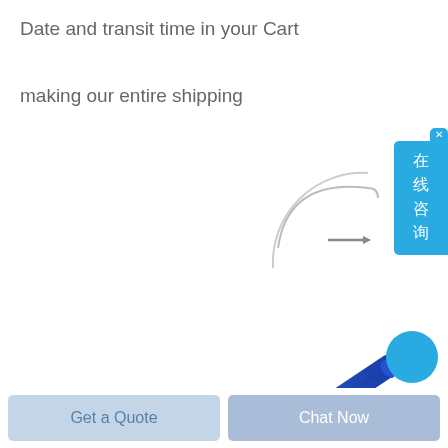Date and transit time in your Cart
making our entire shipping
[Figure (screenshot): Blue chat widget on right edge with Chinese text '在线咨询' (online consultation) and x close button]
[Figure (photo): Partial circular arrow icon, grey, partially cropped at top right]
[Figure (photo): Blue ribbed medical/industrial tube or catheter shown diagonally across the lower portion of the page. Watermark 'KOLLEG' with logo visible in center.]
Get a Quote
Chat Now